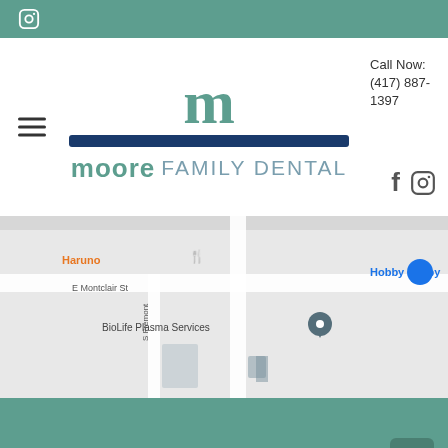Instagram icon in top bar
[Figure (logo): Moore Family Dental logo with teal 'm' letter, dark blue bar, and 'moore FAMILY DENTAL' text]
Call Now: (417) 887-1397
[Figure (screenshot): Google Maps screenshot showing BioLife Plasma Services, Hobby Lobby, Olive Garden Italian, Haruno restaurant, E Montclair St, E Battlefield Rd, S Fremont Ave]
Hours of Operation